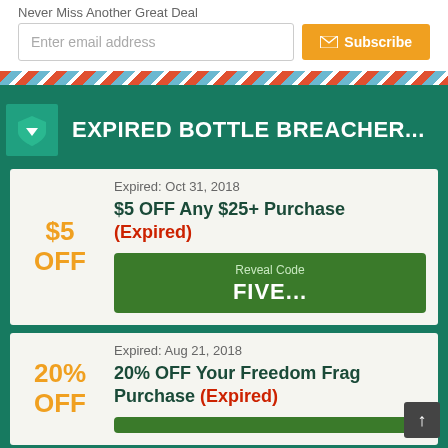Never Miss Another Great Deal
Enter email address
Subscribe
EXPIRED BOTTLE BREACHER...
Expired: Oct 31, 2018
$5 OFF Any $25+ Purchase (Expired)
$5 OFF
Reveal Code FIVE...
Expired: Aug 21, 2018
20% OFF Your Freedom Frag Purchase (Expired)
20% OFF